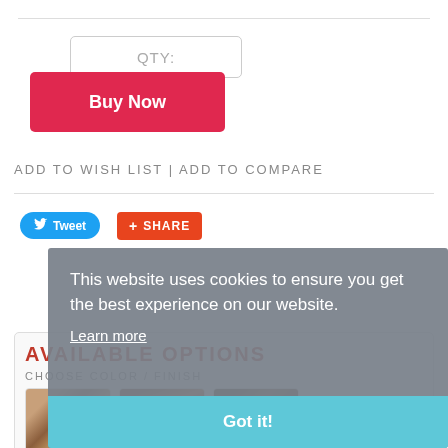QTY:
Buy Now
ADD TO WISH LIST | ADD TO COMPARE
[Figure (screenshot): Tweet and Share social buttons]
This website uses cookies to ensure you get the best experience on our website.
Learn more
Got it!
AVAILABLE OPTIONS
CHOOSE COLOR / FINISH
[Figure (photo): Three wood finish color swatches]